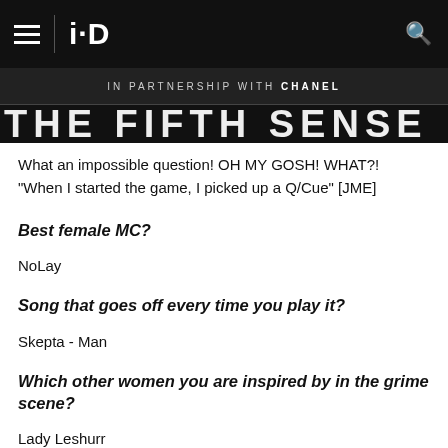i-D
IN PARTNERSHIP WITH CHANEL
THE FIFTH SENSE
What an impossible question! OH MY GOSH! WHAT?!
"When I started the game, I picked up a Q/Cue" [JME]
Best female MC?
NoLay
Song that goes off every time you play it?
Skepta - Man
Which other women you are inspired by in the grime scene?
Lady Leshurr